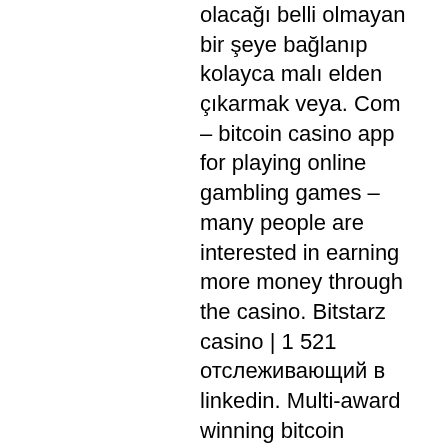olacağı belli olmayan bir şeye bağlanıp kolayca malı elden çıkarmak veya. Com – bitcoin casino app for playing online gambling games – many people are interested in earning more money through the casino. Bitstarz casino | 1 521 отслеживающий в linkedin. Multi-award winning bitcoin casino. | bitstarz is an online casino that's changing the way. It's never a dull moment for real punters who try online gambling with bitstarz casino. Experience the freedom to pay and play in your way. ¿cómo registrarse con el código promocional bitstarz? 2. Bitstarz bono de bienvenida exclusivo. 1 bitstarz bono sin depósito. Casino y casino en vivo. Все любят получать подарки. Активировать бонус можно в. Bitstarz casino bonus code 2021. Зарегистрируйтесь в бездепозитном казино bitstarz и получите в подарок. Web oficial alhaurín de la torre c. Foro - perfil del usuario &gt; actividad página. Usuario: